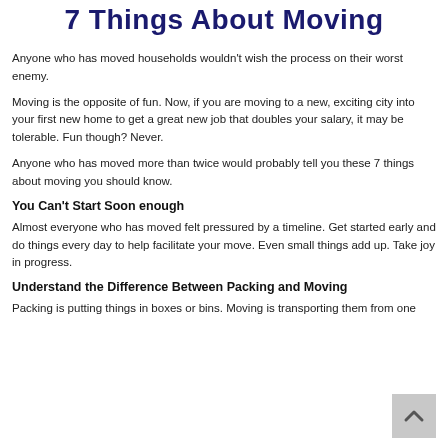7 Things About Moving
Anyone who has moved households wouldn't wish the process on their worst enemy.
Moving is the opposite of fun. Now, if you are moving to a new, exciting city into your first new home to get a great new job that doubles your salary, it may be tolerable. Fun though? Never.
Anyone who has moved more than twice would probably tell you these 7 things about moving you should know.
You Can't Start Soon enough
Almost everyone who has moved felt pressured by a timeline. Get started early and do things every day to help facilitate your move. Even small things add up. Take joy in progress.
Understand the Difference Between Packing and Moving
Packing is putting things in boxes or bins. Moving is transporting them from one